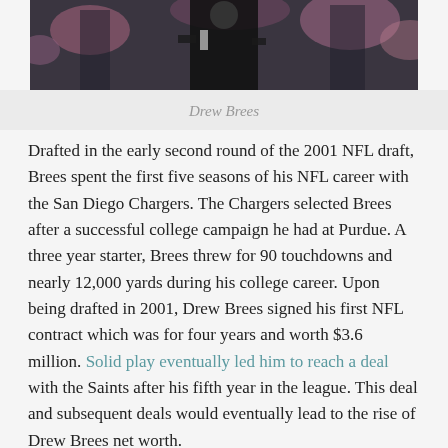[Figure (photo): Partial photo of Drew Brees in sports uniform, cropped showing lower portion of figure with blurred crowd in background]
Drew Brees
Drafted in the early second round of the 2001 NFL draft, Brees spent the first five seasons of his NFL career with the San Diego Chargers. The Chargers selected Brees after a successful college campaign he had at Purdue. A three year starter, Brees threw for 90 touchdowns and nearly 12,000 yards during his college career. Upon being drafted in 2001, Drew Brees signed his first NFL contract which was for four years and worth $3.6 million. Solid play eventually led him to reach a deal with the Saints after his fifth year in the league. This deal and subsequent deals would eventually lead to the rise of Drew Brees net worth.